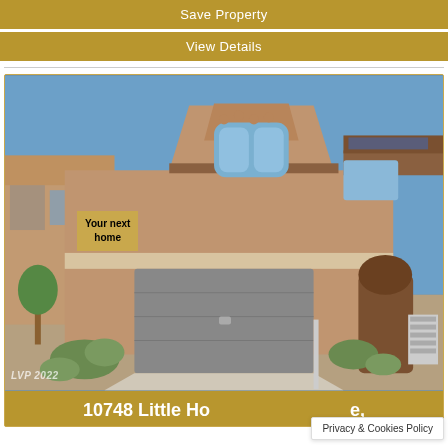Save Property
View Details
[Figure (photo): Two-story stucco residential home with arched windows, two-car garage, desert landscaping, and a sign overlay reading 'Your next home'. Watermark: LVP 2022]
Your next home
10748 Little Ho...e,
Privacy & Cookies Policy